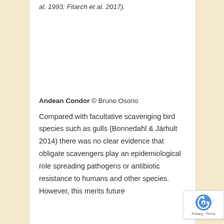al. 1993; Fitarch et al. 2017).
[Figure (photo): Photo of an Andean Condor (large bird), white space area representing image placeholder]
Andean Condor © Bruno Osorio
Compared with facultative scavenging bird species such as gulls (Bonnedahl & Järhult 2014) there was no clear evidence that obligate scavengers play an epidemiological role spreading pathogens or antibiotic resistance to humans and other species. However, this merits future